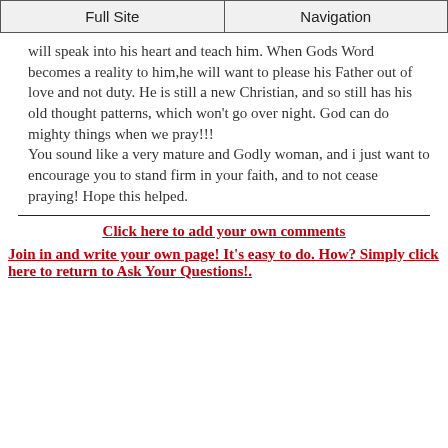Full Site | Navigation
will speak into his heart and teach him. When Gods Word becomes a reality to him,he will want to please his Father out of love and not duty. He is still a new Christian, and so still has his old thought patterns, which won't go over night. God can do mighty things when we pray!!!
You sound like a very mature and Godly woman, and i just want to encourage you to stand firm in your faith, and to not cease praying! Hope this helped.
Click here to add your own comments
Join in and write your own page! It's easy to do. How? Simply click here to return to Ask Your Questions!.